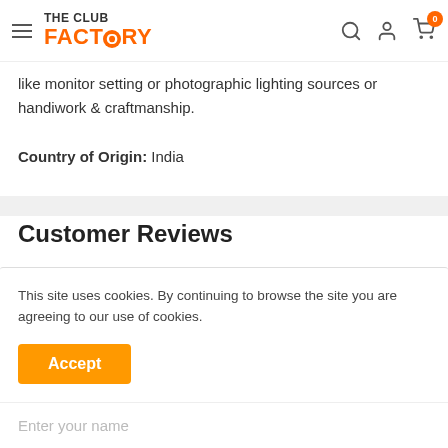The Club Factory
like monitor setting or photographic lighting sources or handiwork & craftmanship.
Country of Origin: India
Customer Reviews
No reviews yet
Write a review
This site uses cookies. By continuing to browse the site you are agreeing to our use of cookies.
Accept
Enter your name